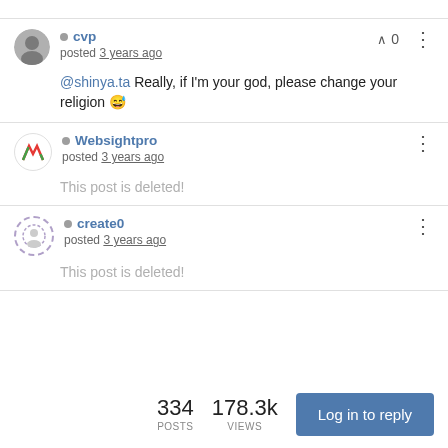cvp posted 3 years ago
@shinya.ta Really, if I'm your god, please change your religion 😅
Websightpro posted 3 years ago
This post is deleted!
create0 posted 3 years ago
This post is deleted!
334 POSTS  178.3k VIEWS
Log in to reply